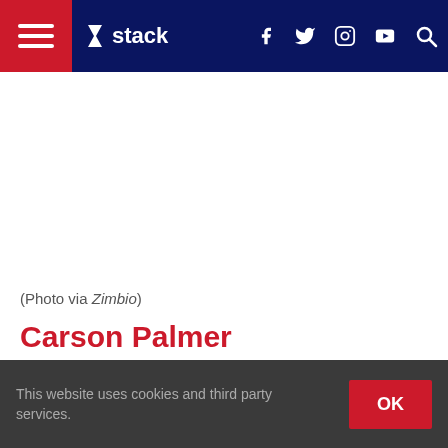Stack — navigation bar with hamburger menu, logo, social icons (Facebook, Twitter, Instagram, YouTube), and search
(Photo via Zimbio)
Carson Palmer
Surgery: Reconstructive Knee Surgery (2006)
For much of the 2005 NFL season, Carson Palmer, then
This website uses cookies and third party services.